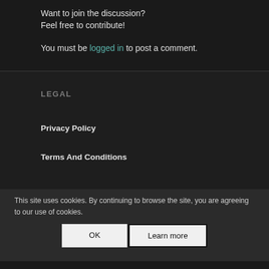Want to join the discussion?
Feel free to contribute!
You must be logged in to post a comment.
LEGAL
Privacy Policy
Terms And Conditions
LOCATIONS
Car wash in London
Car wash in Kensington and Chelsea
This site uses cookies. By continuing to browse the site, you are agreeing to our use of cookies.
OK
Learn more